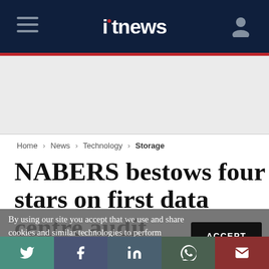itnews
Home > News > Technology > Storage
NABERS bestows four stars on first data centre audit
By using our site you accept that we use and share cookies and similar technologies to perform analytics and provide content and ads tailored to your interests. By continuing to use our site, you consent to this. Please see our Cookie Policy for more information.